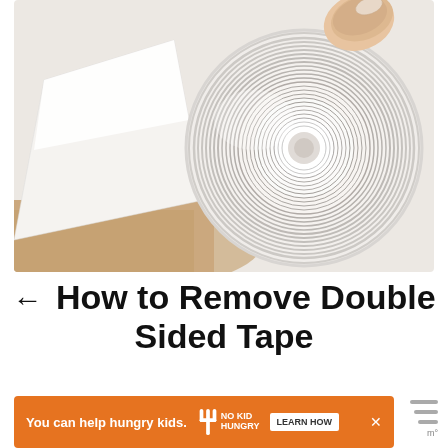[Figure (photo): Close-up photo of a roll of white double-sided tape being unrolled, with a finger holding it. The tape reel is visible with layered white tape, and a piece is being peeled away. The background shows a light wooden floor surface.]
← How to Remove Double Sided Tape
[Figure (other): Orange advertisement banner reading 'You can help hungry kids.' with No Kid Hungry logo and a 'LEARN HOW' button, with a close (X) button.]